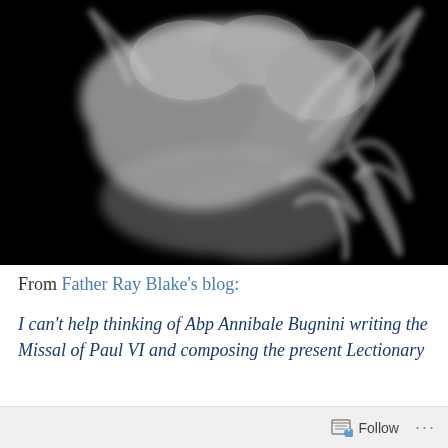[Figure (photo): Black and white photograph of smoke wisps against a black background, showing swirling smoke formations.]
From Father Ray Blake's blog:
I can't help thinking of Abp Annibale Bugnini writing the Missal of Paul VI and composing the present Lectionary
Follow ...